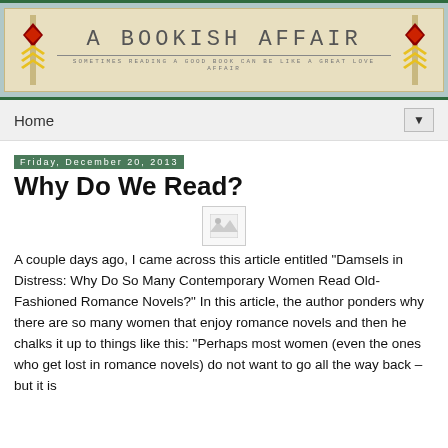[Figure (logo): A Bookish Affair blog banner with decorative art-deco style elements, chevron patterns in red/yellow/green, tan background, subtitle 'Sometimes reading a good book can be like a great love affair']
Home ▼
Friday, December 20, 2013
Why Do We Read?
[Figure (photo): Broken image placeholder icon]
A couple days ago, I came across this article entitled "Damsels in Distress: Why Do So Many Contemporary Women Read Old-Fashioned Romance Novels?" In this article, the author ponders why there are so many women that enjoy romance novels and then he chalks it up to things like this: "Perhaps most women (even the ones who get lost in romance novels) do not want to go all the way back – but it is